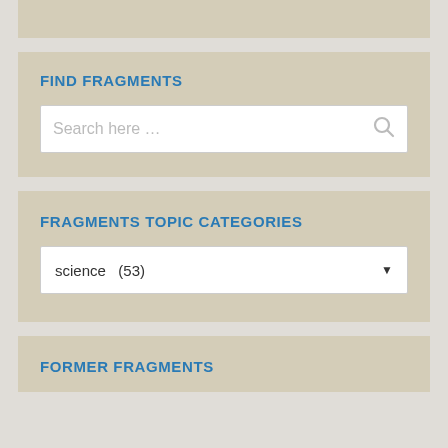[Figure (screenshot): Partial top panel clipped at top of page]
FIND FRAGMENTS
[Figure (screenshot): Search input box with placeholder text 'Search here ...' and a search icon]
FRAGMENTS TOPIC CATEGORIES
[Figure (screenshot): Dropdown selector showing 'science  (53)' with a down arrow]
FORMER FRAGMENTS